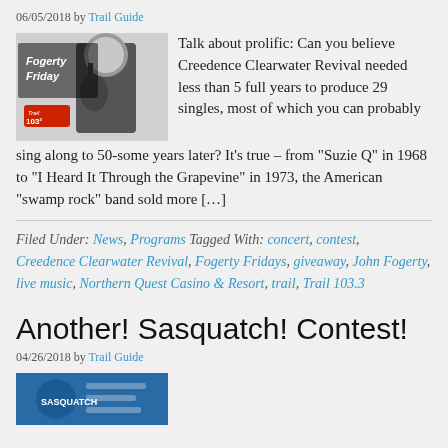06/05/2018 by Trail Guide
[Figure (photo): Fogerty Friday promotional image with John Fogerty playing guitar in black and white, with Trail 103.3 logo]
Talk about prolific: Can you believe Creedence Clearwater Revival needed less than 5 full years to produce 29 singles, most of which you can probably sing along to 50-some years later? It's true – from "Suzie Q" in 1968 to "I Heard It Through the Grapevine" in 1973, the American "swamp rock" band sold more […]
Filed Under: News, Programs Tagged With: concert, contest, Creedence Clearwater Revival, Fogerty Fridays, giveaway, John Fogerty, live music, Northern Quest Casino & Resort, trail, Trail 103.3
Another! Sasquatch! Contest!
04/26/2018 by Trail Guide
[Figure (photo): Sasquatch contest promotional image]